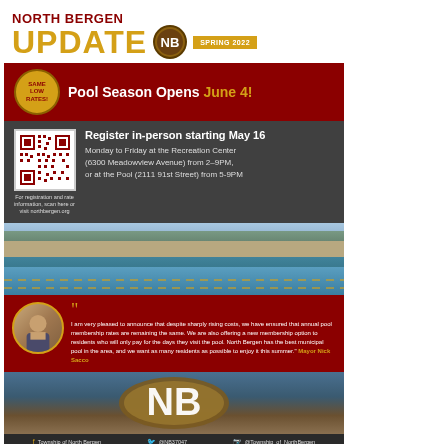NORTH BERGEN UPDATE — SPRING 2022
Pool Season Opens June 4!
SAME LOW RATES!
Register in-person starting May 16
Monday to Friday at the Recreation Center (6300 Meadowview Avenue) from 2–9PM, or at the Pool (2111 91st Street) from 5-9PM
For registration and rate information, scan here or visit northbergen.org
[Figure (photo): Outdoor municipal swimming pool photo]
I am very pleased to announce that despite sharply rising costs, we have ensured that annual pool membership rates are remaining the same. We are also offering a new membership option to residents who will only pay for the days they visit the pool. North Bergen has the best municipal pool in the area, and we want as many residents as possible to enjoy it this summer. Mayor Nick Sacco
[Figure (logo): NB North Bergen logo at pool bottom]
f Township of North Bergen   @NB37047   @Township_of_NorthBergen